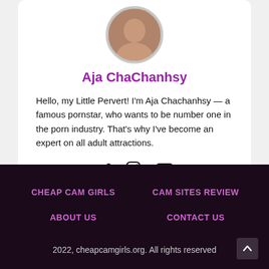[Figure (photo): Circular avatar photo of Aja ChaChanhsy]
Aja ChaChanhsy
Hello, my Little Pervert! I'm Aja Chachanhsy — a famous pornstar, who wants to be number one in the porn industry. That's why I've become an expert on all adult attractions.
[Figure (other): Social media icons: link, Instagram, YouTube]
CHEAP CAM GIRLS   CAM SITES REVIEW   ABOUT US   CONTACT US   2022, cheapcamgirls.org. All rights reserved